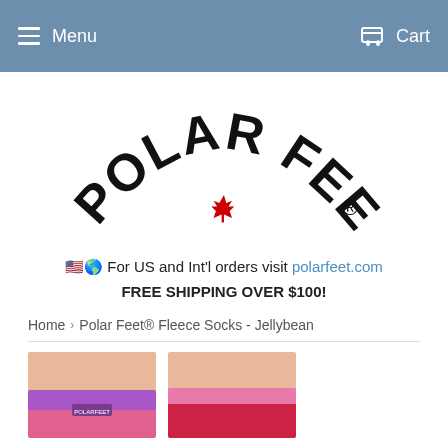Menu   Cart
[Figure (logo): Polar Feet logo with arched bold black text 'POLAR FEET' and a red maple leaf in the center, registered trademark symbol]
🇺🇸🌎 For US and Int'l orders visit polarfeet.com
FREE SHIPPING OVER $100!
Home › Polar Feet® Fleece Socks - Jellybean
[Figure (photo): Two Polar Feet fleece socks shown from ankle up, one pink/purple on left and one red/pink on right, against a light skin background]